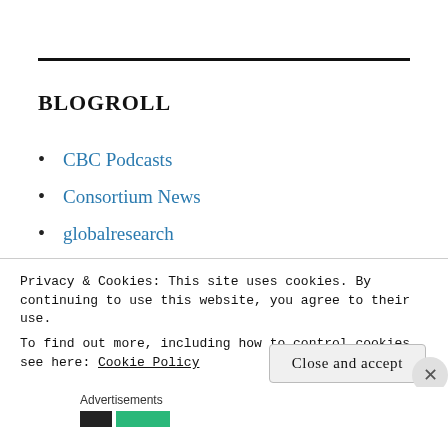BLOGROLL
CBC Podcasts
Consortium News
globalresearch
iPolitics
John Pilger
Naomi Klein
Privacy & Cookies: This site uses cookies. By continuing to use this website, you agree to their use.
To find out more, including how to control cookies, see here: Cookie Policy
Close and accept
Advertisements